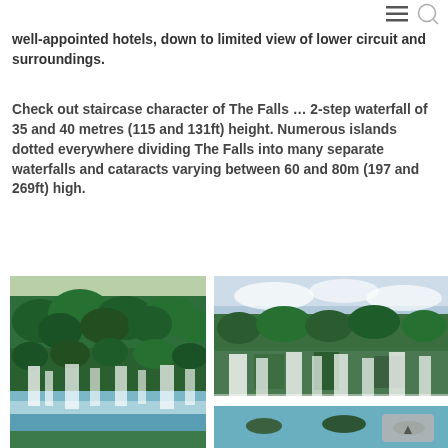≡ 🔍
well-appointed hotels, down to limited view of lower circuit and surroundings.
Check out staircase character of The Falls … 2-step waterfall of 35 and 40 metres (115 and 131ft) height. Numerous islands dotted everywhere dividing The Falls into many separate waterfalls and cataracts varying between 60 and 80m (197 and 269ft) high.
[Figure (photo): Aerial/wide view of Iguazu Falls with lush green jungle and multiple waterfall cascades]
[Figure (photo): Panoramic view of Iguazu Falls showing multiple cascades with mist and rocky outcrops]